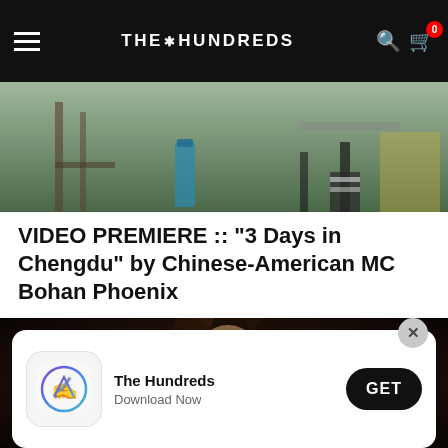THE HUNDREDS
[Figure (photo): Top partial image showing outdoor scene with chairs and people's legs visible]
VIDEO PREMIERE :: "3 Days in Chengdu" by Chinese-American MC Bohan Phoenix
[Figure (photo): Video still showing a woman with curly hair looking down, wearing a white top]
[Figure (screenshot): App install banner showing The Hundreds app icon with App Store symbol, text 'The Hundreds / Download Now' and a black GET button with close X button]
PREMIERE :: Has Songstress Joyce Wrice Debuts New Video For "Do You Love Me"